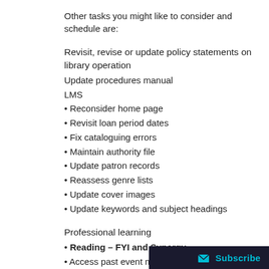Other tasks you might like to consider and schedule are:
Revisit, revise or update policy statements on library operation
Update procedures manual
LMS
• Reconsider home page
• Revisit loan period dates
• Fix cataloguing errors
• Maintain authority file
• Update patron records
• Reassess genre lists
• Update cover images
• Update keywords and subject headings
Professional learning
• Reading – FYI and Synergy
• Access past event material in the members only area of the SLAV website
• Access webinars on your particular LMS, databas…